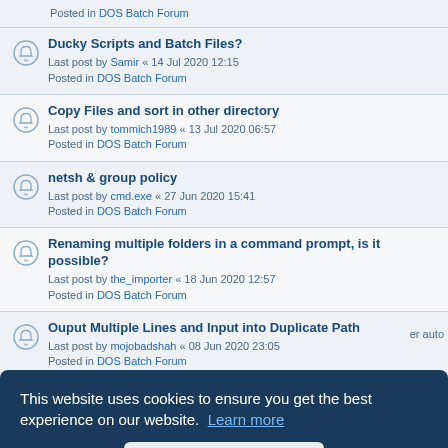Posted in DOS Batch Forum
Ducky Scripts and Batch Files?
Last post by Samir « 14 Jul 2020 12:15
Posted in DOS Batch Forum
Copy Files and sort in other directory
Last post by tommich1989 « 13 Jul 2020 06:57
Posted in DOS Batch Forum
netsh & group policy
Last post by cmd.exe « 27 Jun 2020 15:41
Posted in DOS Batch Forum
Renaming multiple folders in a command prompt, is it possible?
Last post by the_importer « 18 Jun 2020 12:57
Posted in DOS Batch Forum
Ouput Multiple Lines and Input into Duplicate Path
Last post by mojobadshah « 08 Jun 2020 23:05
Posted in DOS Batch Forum
Risk Remover Batch Antivirus ( Scanner Component )
Last post by kornkaobat « 08 Jun 2020 07:47
er auto
Posted in DOS Batch Forum
This website uses cookies to ensure you get the best experience on our website. Learn more
Got it!